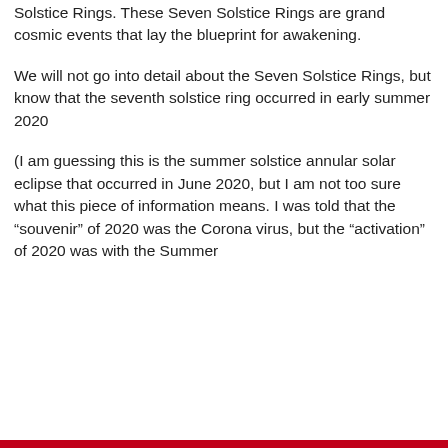Solstice Rings. These Seven Solstice Rings are grand cosmic events that lay the blueprint for awakening.
We will not go into detail about the Seven Solstice Rings, but know that the seventh solstice ring occurred in early summer 2020
(I am guessing this is the summer solstice annular solar eclipse that occurred in June 2020, but I am not too sure what this piece of information means. I was told that the “souvenir” of 2020 was the Corona virus, but the “activation” of 2020 was with the Summer